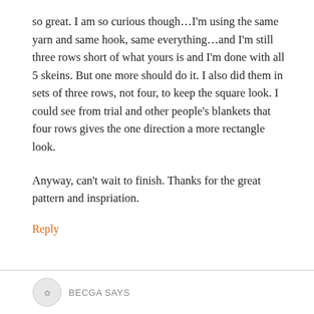so great. I am so curious though…I'm using the same yarn and same hook, same everything…and I'm still three rows short of what yours is and I'm done with all 5 skeins. But one more should do it. I also did them in sets of three rows, not four, to keep the square look. I could see from trial and other people's blankets that four rows gives the one direction a more rectangle look.
Anyway, can't wait to finish. Thanks for the great pattern and inspriation.
Reply